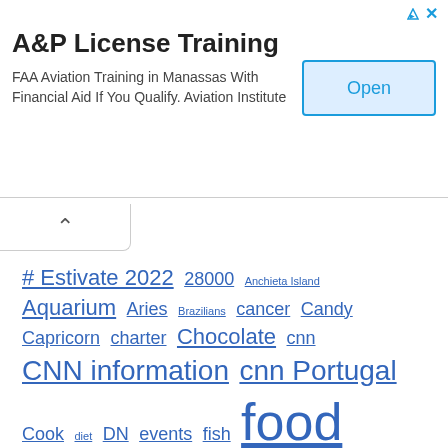[Figure (other): Advertisement banner for A&P License Training. Title: A&P License Training. Body: FAA Aviation Training in Manassas With Financial Aid If You Qualify. Aviation Institute. Has an Open button on the right.]
# Estivate 2022  28000  Anchieta Island  Aquarium  Aries  Brazilians  cancer  Candy  Capricorn  charter  Chocolate  cnn  CNN information  cnn Portugal  Cook  diet  DN  events  fish  food  foods  Frame  Gastronomy  health  healthy eating  horoscope  horoscope of the week july 2022  Immigration  Leaf  Lioness  news diary  New York Times  Nutrition  page guide  Sagittarius  Salvador  Scorpion  to do  To travel  Twins  virgin  visiting  Weekend  weekly horoscope  weight scale